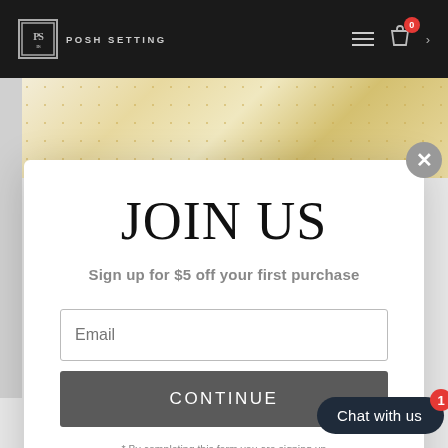POSH SETTING
[Figure (screenshot): Gold and white decorative tableware image strip at top of page]
JOIN US
Sign up for $5 off your first purchase
Email
CONTINUE
* By completing this form you are signing up and can unsubscribe at any time.
Chat with us